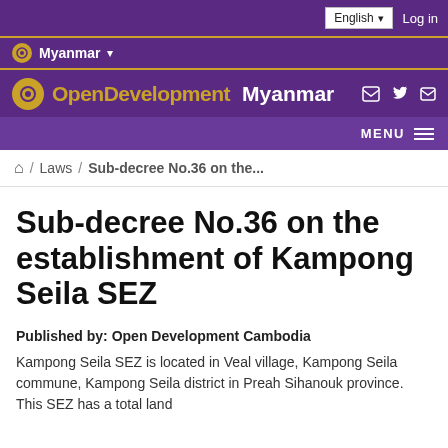English ▾  Log in
⊗ Myanmar ▾
OpenDevelopment Myanmar
MENU
🏠 / Laws / Sub-decree No.36 on the...
Sub-decree No.36 on the establishment of Kampong Seila SEZ
Published by: Open Development Cambodia
Kampong Seila SEZ is located in Veal village, Kampong Seila commune, Kampong Seila district in Preah Sihanouk province. This SEZ has a total land